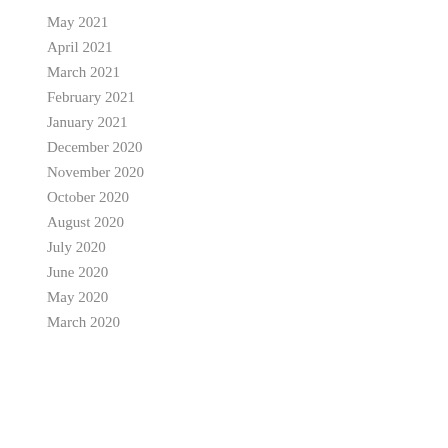May 2021
April 2021
March 2021
February 2021
January 2021
December 2020
November 2020
October 2020
August 2020
July 2020
June 2020
May 2020
March 2020